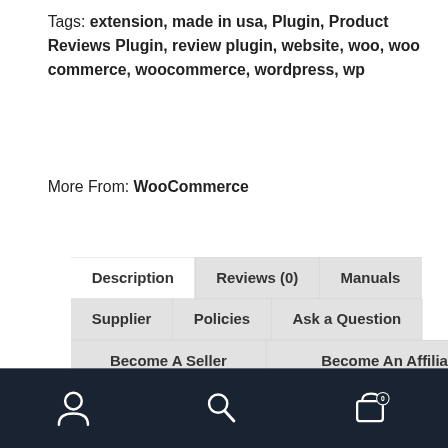Tags: extension, made in usa, Plugin, Product Reviews Plugin, review plugin, website, woo, woo commerce, woocommerce, wordpress, wp
More From: WooCommerce
[Figure (screenshot): Tab navigation interface showing tabs: Description (active/white), Reviews (0), Manuals in first row; Supplier, Policies, Ask a Question in second row; Become A Seller, Become An Affiliate in third row.]
Product Reviews Plugin for WooCommerce and WordPress
[Figure (screenshot): Bottom navigation bar with dark navy background containing three icons: user/person icon, search/magnifying glass icon, and shopping cart icon with badge showing 0]